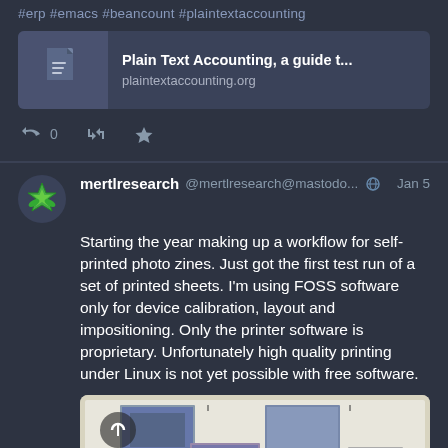#erp #emacs #beancount #plaintextaccounting
[Figure (screenshot): Link card showing 'Plain Text Accounting, a guide t...' with URL plaintextaccounting.org and a document icon on the left]
reply 0  retweet  star
mertlresearch @mertlresearch@mastodo... Jan 5
Starting the year making up a workflow for self-printed photo zines. Just got the first test run of a set of printed sheets. I'm using FOSS software only for device calibration, layout and impositioning. Only the printer software is proprietary. Unfortunately high quality printing under Linux is not yet possible with free software.
[Figure (photo): Photo of printed sheets laid out on a surface, showing multiple small photographs arranged on white paper sheets, with a circular logo/watermark visible in the upper left corner]